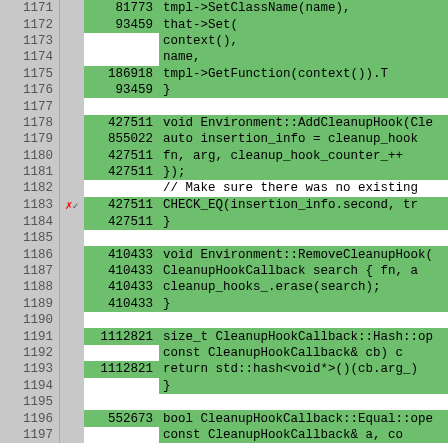[Figure (screenshot): Code coverage viewer showing C++ source code lines 1171-1197 with line numbers, execution counts, and highlighted (green/gray) coverage status. Functions shown include Environment::AddCleanupHook, Environment::RemoveCleanupHook, CleanupHookCallback::Hash::operator(), and CleanupHookCallback::Equal::operator(). Line 1183 has a red X/checkmark marker.]